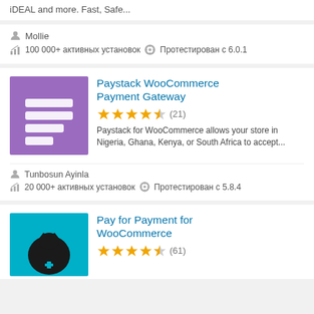iDEAL and more. Fast, Safe...
Mollie
100 000+ активных установок  Протестирован с 6.0.1
Paystack WooCommerce Payment Gateway
(21)
Paystack for WooCommerce allows your store in Nigeria, Ghana, Kenya, or South Africa to accept...
Tunbosun Ayinla
20 000+ активных установок  Протестирован с 5.8.4
Pay for Payment for WooCommerce
(61)